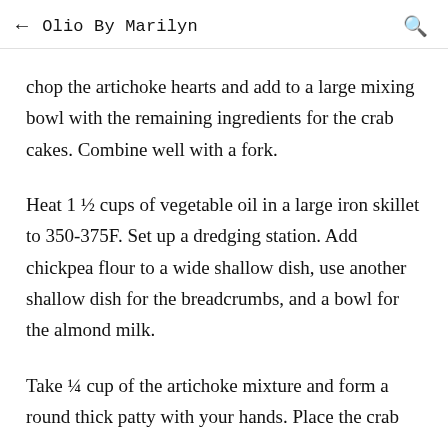← Olio By Marilyn 🔍
chop the artichoke hearts and add to a large mixing bowl with the remaining ingredients for the crab cakes. Combine well with a fork.
Heat 1 ½ cups of vegetable oil in a large iron skillet to 350-375F. Set up a dredging station. Add chickpea flour to a wide shallow dish, use another shallow dish for the breadcrumbs, and a bowl for the almond milk.
Take ¼ cup of the artichoke mixture and form a round thick patty with your hands. Place the crab